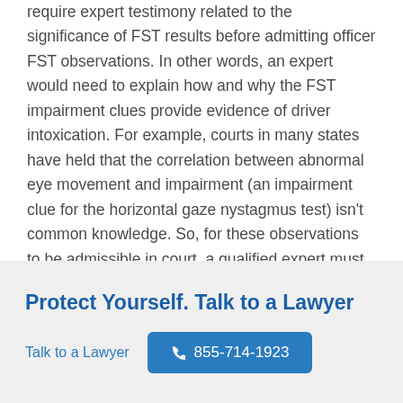require expert testimony related to the significance of FST results before admitting officer FST observations. In other words, an expert would need to explain how and why the FST impairment clues provide evidence of driver intoxication. For example, courts in many states have held that the correlation between abnormal eye movement and impairment (an impairment clue for the horizontal gaze nystagmus test) isn't common knowledge. So, for these observations to be admissible in court, a qualified expert must testify as to this correlation.
Protect Yourself. Talk to a Lawyer
Talk to a Lawyer  855-714-1923